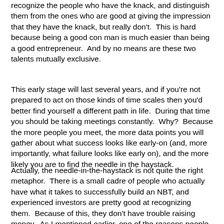recognize the people who have the knack, and distinguish them from the ones who are good at giving the impression that they have the knack, but really don't.  This is hard because being a good con man is much easier than being a good entrepreneur.  And by no means are these two talents mutually exclusive.
This early stage will last several years, and if you're not prepared to act on those kinds of time scales then you'd better find yourself a different path in life.  During that time you should be taking meetings constantly.  Why?  Because the more people you meet, the more data points you will gather about what success looks like early-on (and, more importantly, what failure looks like early on), and the more likely you are to find the needle in the haystack.
Actually, the needle-in-the-haystack is not quite the right metaphor.  There is a small cadre of people who actually have what it takes to successfully build an NBT, and experienced investors are pretty good at recognizing them.  Because of this, they don't have trouble raising money.  As I mentioned earlier, one of the reasons people get into angel investing is because they think it's more fun to be the baggage...